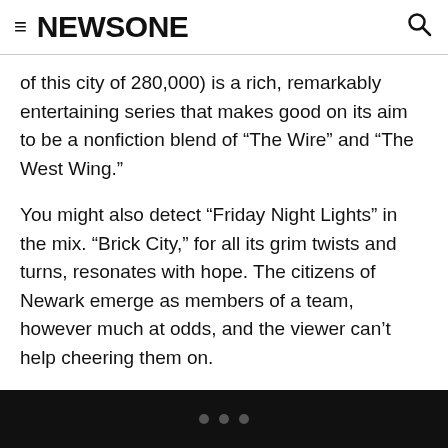NEWSONE
of this city of 280,000) is a rich, remarkably entertaining series that makes good on its aim to be a nonfiction blend of “The Wire” and “The West Wing.”
You might also detect “Friday Night Lights” in the mix. “Brick City,” for all its grim twists and turns, resonates with hope. The citizens of Newark emerge as members of a team, however much at odds, and the viewer can’t help cheering them on.
Much of that team spirit flows from Mayor Booker, who says at one point, “I will not let finite disappointment undermine infinite hope — and I have infinite hope.”